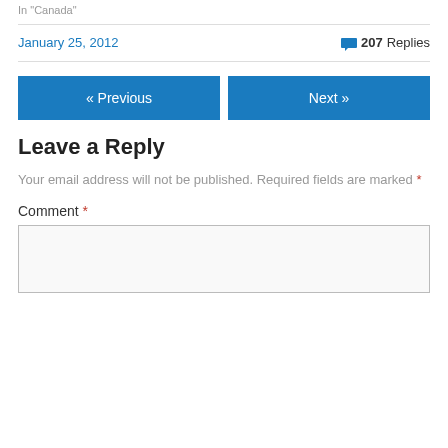In "Canada"
January 25, 2012
207 Replies
« Previous
Next »
Leave a Reply
Your email address will not be published. Required fields are marked *
Comment *